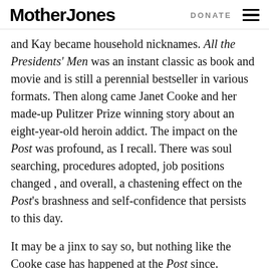Mother Jones | DONATE
and Kay became household nicknames. All the Presidents' Men was an instant classic as book and movie and is still a perennial bestseller in various formats. Then along came Janet Cooke and her made-up Pulitzer Prize winning story about an eight-year-old heroin addict. The impact on the Post was profound, as I recall. There was soul searching, procedures adopted, job positions changed , and overall, a chastening effect on the Post's brashness and self-confidence that persists to this day.
It may be a jinx to say so, but nothing like the Cooke case has happened at the Post since. Whatever else may be said about the paper by its critics, its fans, and Wall Street analysts, the Washington Post is as